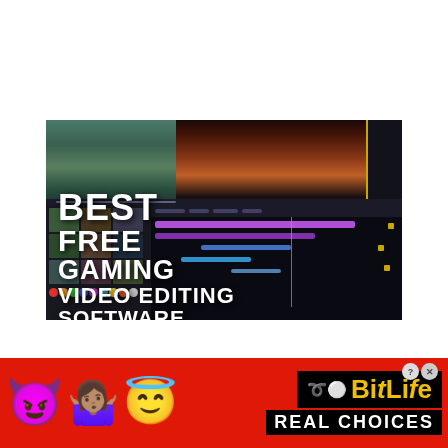[Figure (screenshot): Thumbnail image for a YouTube video about best free gaming video editing software. Shows a video editing software interface with dark UI, timeline, media panels, overlaid with bold white text reading 'BEST FREE GAMING VIDEO EDITING SOFTWARE'. Background shows sunset/landscape footage in the preview monitor.]
[Figure (infographic): Advertisement banner for BitLife game. Red background with devil emoji, woman shrugging emoji, angel emoji on the left. Right side shows black bar with BitLife logo in yellow and 'REAL CHOICES' text in white.]